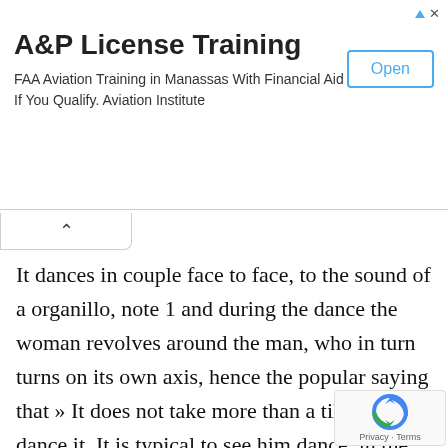[Figure (screenshot): Ad banner for A&P License Training with Open button]
A&P License Training
FAA Aviation Training in Manassas With Financial Aid If You Qualify. Aviation Institute
It dances in couple face to face, to the sound of a organillo, note 1 and during the dance the woman revolves around the man, who in turn turns on its own axis, hence the popular saying that » It does not take more than a tile «to dance it. It is typical to see him dance, in the summer festivals of Madrid: the women dressed in a Manila shawl and half-head covering, and the men, always looking at the front and dressed in vest, striped pants and visor or visor.